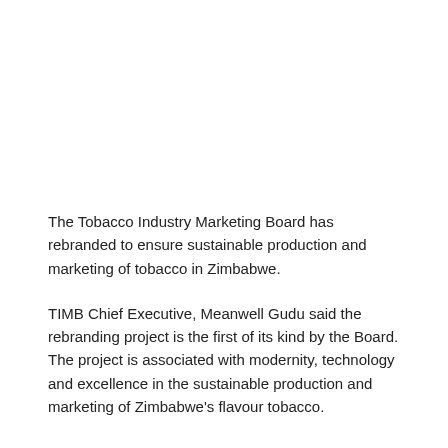The Tobacco Industry Marketing Board has rebranded to ensure sustainable production and marketing of tobacco in Zimbabwe.
TIMB Chief Executive, Meanwell Gudu said the rebranding project is the first of its kind by the Board. The project is associated with modernity, technology and excellence in the sustainable production and marketing of Zimbabwe's flavour tobacco.